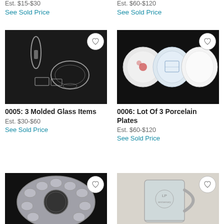Est. $15-$30
See Sold Price
Est. $60-$120
See Sold Price
[Figure (photo): Crystal/glass items: a vase, footed bowl, and two small rectangular pieces on black background]
[Figure (photo): Three porcelain plates on black background: one with floral design, one with blue scenic design, one plain white]
0005: 3 Molded Glass Items
Est. $30-$60
See Sold Price
0006: Lot Of 3 Porcelain Plates
Est. $60-$120
See Sold Price
[Figure (photo): Aluminum deviled egg tray with circular center medallion on dark background]
[Figure (photo): Clear glass mug with etched logo on light background]